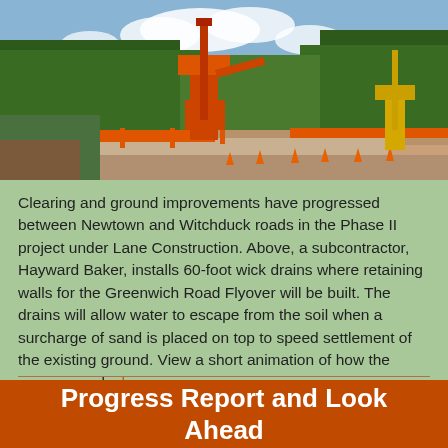[Figure (photo): Construction site photo showing a large orange excavator/drill rig operating at a clearing and ground improvement site near Newtown and Witchduck roads. Orange safety fencing, traffic cones, gravel ground, trees and blue sky in background. Another yellow crane/excavator visible at right.]
Clearing and ground improvements have progressed between Newtown and Witchduck roads in the Phase II project under Lane Construction. Above, a subcontractor, Hayward Baker, installs 60-foot wick drains where retaining walls for the Greenwich Road Flyover will be built. The drains will allow water to escape from the soil when a surcharge of sand is placed on top to speed settlement of the existing ground. View a short animation of how the process works here .
Progress Report and Look Ahead